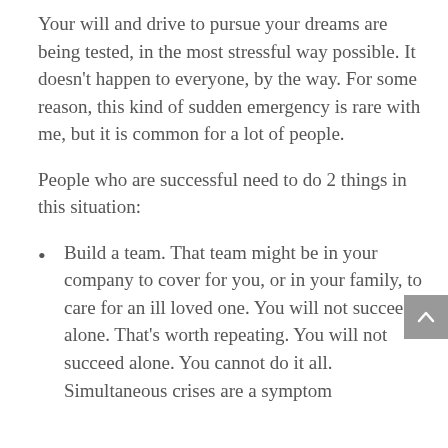Your will and drive to pursue your dreams are being tested, in the most stressful way possible. It doesn't happen to everyone, by the way. For some reason, this kind of sudden emergency is rare with me, but it is common for a lot of people.
People who are successful need to do 2 things in this situation:
Build a team. That team might be in your company to cover for you, or in your family, to care for an ill loved one. You will not succeed alone. That's worth repeating. You will not succeed alone. You cannot do it all. Simultaneous crises are a symptom